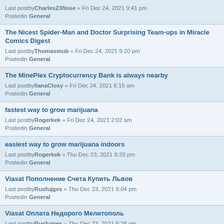Last postbyCharles23finue « Fri Dec 24, 2021 9:41 pm
Postedin General
The Nicest Spider-Man and Doctor Surprising Team-ups in Miracle Comics Digest
Last postbyThomasmub « Fri Dec 24, 2021 9:20 pm
Postedin General
The MinePlex Cryptocurrency Bank is always nearby
Last postbyIlanaClosy « Fri Dec 24, 2021 6:15 am
Postedin General
fastest way to grow marijuana
Last postbyRogerkek « Fri Dec 24, 2021 2:02 am
Postedin General
easiest way to grow marijuana indoors
Last postbyRogerkek « Thu Dec 23, 2021 9:28 pm
Postedin General
Viasat Пополнение Счета Купить Львов
Last postbyRusfujges « Thu Dec 23, 2021 8:04 pm
Postedin General
Viasat Оплата Недорого Мелитополь
Last postbyRusfujges « Thu Dec 23, 2021 6:26 pm
Postedin General
softlock protection studio 50 cracked
Last postbyGeorgespuse « Thu Dec 23, 2021 3:04 pm
Postedin General
I am glad to come this forum
Last postbyRaymond23vorn « Thu Dec 23, 2021 1:28 pm